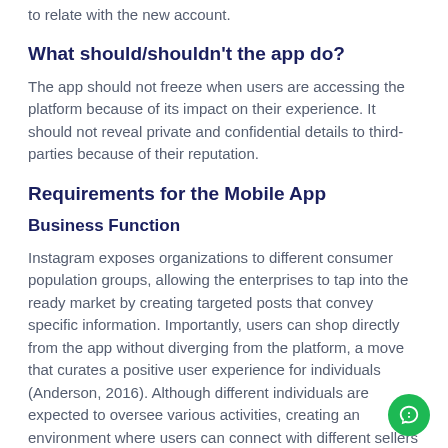to relate with the new account.
What should/shouldn't the app do?
The app should not freeze when users are accessing the platform because of its impact on their experience. It should not reveal private and confidential details to third-parties because of their reputation.
Requirements for the Mobile App
Business Function
Instagram exposes organizations to different consumer population groups, allowing the enterprises to tap into the ready market by creating targeted posts that convey specific information. Importantly, users can shop directly from the app without diverging from the platform, a move that curates a positive user experience for individuals (Anderson, 2016). Although different individuals are expected to oversee various activities, creating an environment where users can connect with different sellers exposes individuals to a conducive platform that satisfies their interests.